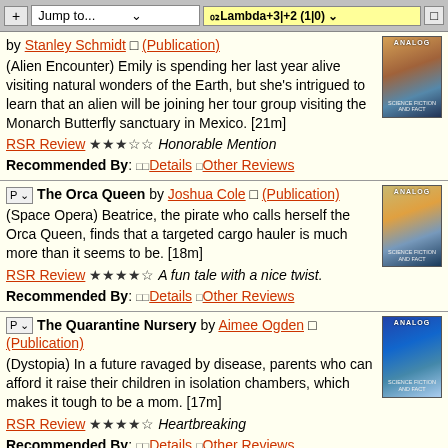+ Jump to... | ₀₂Lambda+3|+2 (1|0)
by Stanley Schmidt ⬛ (Publication)
(Alien Encounter) Emily is spending her last year alive visiting natural wonders of the Earth, but she's intrigued to learn that an alien will be joining her tour group visiting the Monarch Butterfly sanctuary in Mexico. [21m]
RSR Review ★★★☆☆ Honorable Mention
Recommended By: ⬛⬛Details ⬛Other Reviews
The Orca Queen by Joshua Cole ⬛ (Publication)
(Space Opera) Beatrice, the pirate who calls herself the Orca Queen, finds that a targeted cargo hauler is much more than it seems to be. [18m]
RSR Review ★★★★☆ A fun tale with a nice twist.
Recommended By: ⬛⬛Details ⬛Other Reviews
The Quarantine Nursery by Aimee Ogden ⬛ (Publication)
(Dystopia) In a future ravaged by disease, parents who can afford it raise their children in isolation chambers, which makes it tough to be a mom. [17m]
RSR Review ★★★★☆ Heartbreaking
Recommended By: ⬛⬛Details ⬛Other Reviews